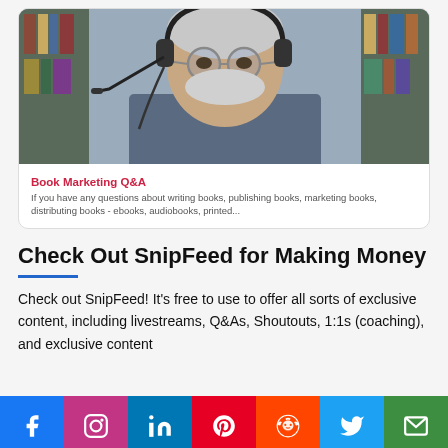[Figure (screenshot): Video thumbnail showing a man with glasses and a headset microphone in a home office with bookshelves]
Book Marketing Q&A
If you have any questions about writing books, publishing books, marketing books, distributing books - ebooks, audiobooks, printed...
Check Out SnipFeed for Making Money
Check out SnipFeed! It’s free to use to offer all sorts of exclusive content, including livestreams, Q&As, Shoutouts, 1:1s (coaching), and exclusive content
[Figure (infographic): Social media share bar with icons for Facebook, Instagram, LinkedIn, Pinterest, Reddit, Twitter, and Email]